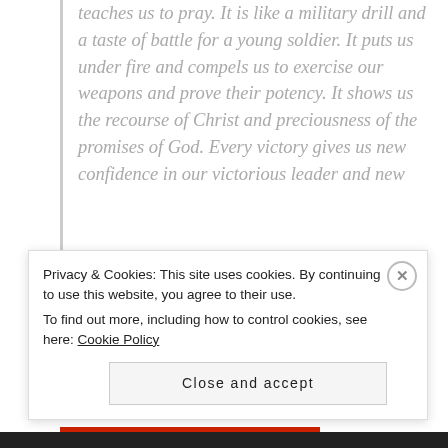teaches us to pray. It is like a military drill and a taste of battle for a young soldier. It puts us under fire and compels us to exercise our weapons and prove their potency. It shows us the recourse of Christ and preciousness of the promises of God. Every victory gives us new confidence in our victorious leader and new
Privacy & Cookies: This site uses cookies. By continuing to use this website, you agree to their use.
To find out more, including how to control cookies, see here: Cookie Policy